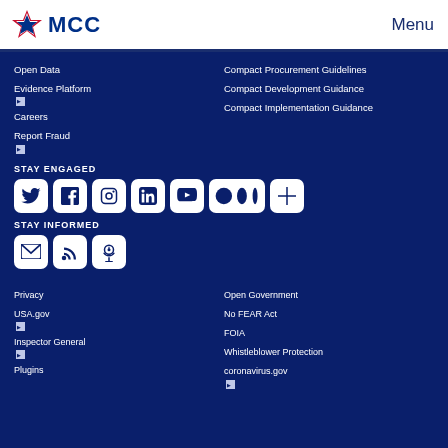MCC | Menu
Open Data
Evidence Platform
Careers
Report Fraud
Compact Procurement Guidelines
Compact Development Guidance
Compact Implementation Guidance
STAY ENGAGED
[Figure (other): Social media icons: Twitter, Facebook, Instagram, LinkedIn, YouTube, Medium, and a plus/more button]
STAY INFORMED
[Figure (other): Communication icons: Email/envelope, RSS feed, Podcast]
Privacy
USA.gov
Inspector General
Plugins
Open Government
No FEAR Act
FOIA
Whistleblower Protection
coronavirus.gov